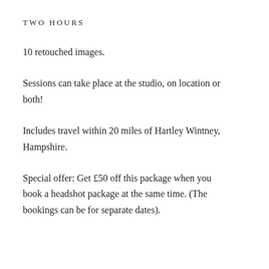TWO HOURS
10 retouched images.
Sessions can take place at the studio, on location or both!
Includes travel within 20 miles of Hartley Wintney, Hampshire.
Special offer: Get £50 off this package when you book a headshot package at the same time. (The bookings can be for separate dates).